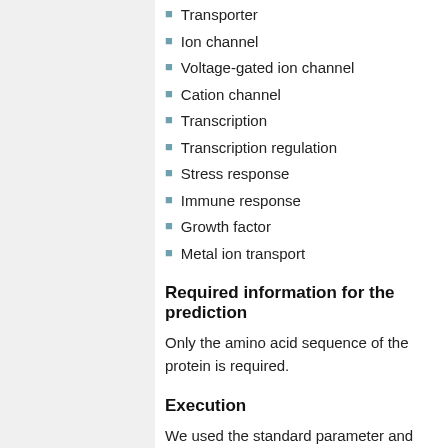Transporter
Ion channel
Voltage-gated ion channel
Cation channel
Transcription
Transcription regulation
Stress response
Immune response
Growth factor
Metal ion transport
Required information for the prediction
Only the amino acid sequence of the protein is required.
Execution
We used the standard parameter and submitted all requested sequences at once.
SUBMISSION
Paste a single sequence or several sequences in